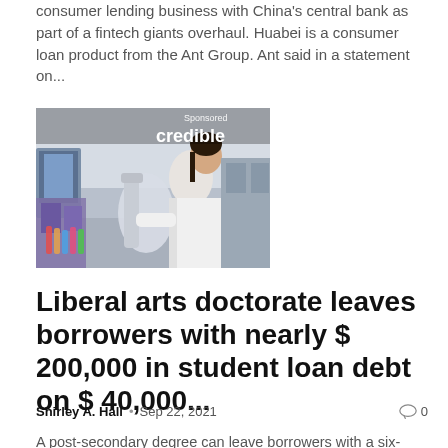consumer lending business with China's central bank as part of a fintech giants overhaul. Huabei is a consumer loan product from the Ant Group. Ant said in a statement on...
[Figure (photo): Sponsored advertisement image from Credible showing a scientist or lab worker in a white coat looking through a microscope in a laboratory setting.]
Liberal arts doctorate leaves borrowers with nearly $ 200,000 in student loan debt on $ 40,000...
Shirley A. Hall  •  Sep 22, 2021   ○ 0
A post-secondary degree can leave borrowers with a six-figure